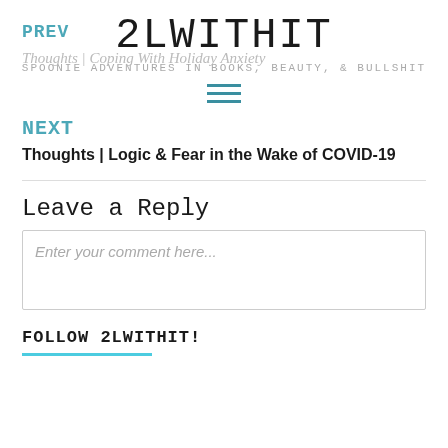2LWITHIT
SPOONIE ADVENTURES IN BOOKS, BEAUTY, & BULLSHIT
PREV
Thoughts | Coping With Holiday Anxiety
[Figure (other): Hamburger menu icon with three horizontal lines]
NEXT
Thoughts | Logic & Fear in the Wake of COVID-19
Leave a Reply
Enter your comment here...
FOLLOW 2LWITHIT!